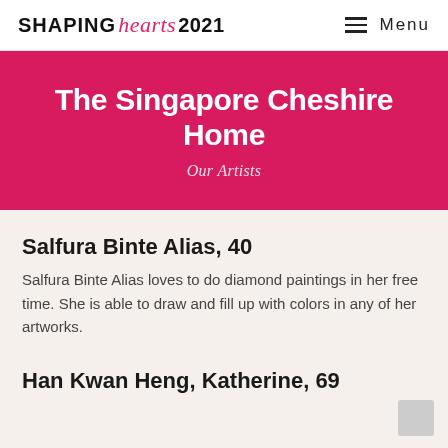SHAPING hearts 2021  Menu
The Singapore Cheshire Home
Our Artists
Salfura Binte Alias, 40
Salfura Binte Alias loves to do diamond paintings in her free time. She is able to draw and fill up with colors in any of her artworks.
Han Kwan Heng, Katherine, 69